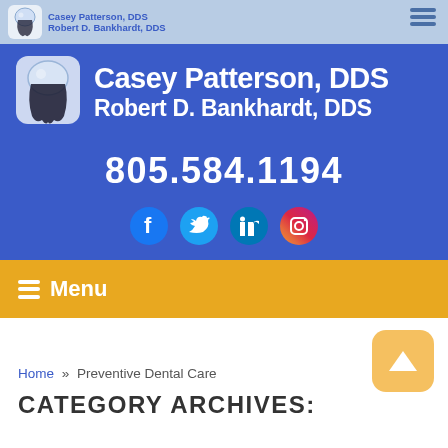Casey Patterson, DDS | Robert D. Bankhardt, DDS
Casey Patterson, DDS
Robert D. Bankhardt, DDS
805.584.1194
[Figure (logo): Social media icons: Facebook, Twitter, LinkedIn, Instagram]
Menu
Home » Preventive Dental Care
CATEGORY ARCHIVES: